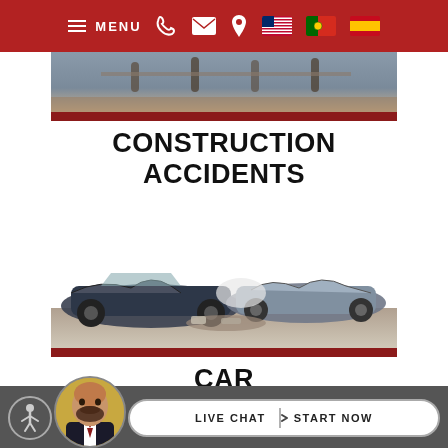MENU (navigation bar with phone, email, location icons and language flags)
[Figure (photo): Partial photo showing people at a construction site (top cropped)]
CONSTRUCTION ACCIDENTS
[Figure (photo): Photo of severely damaged/wrecked cars after a collision accident]
CAR ACCIDENTS
LIVE CHAT | START NOW (live chat widget with accessibility icon and attorney avatar)